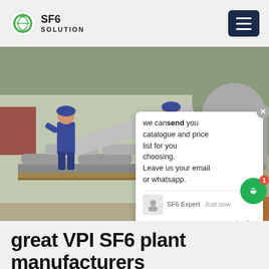SF6 SOLUTION
[Figure (photo): Two workers in blue coveralls and blue hard hats handling large gray cylindrical gas cylinders/tanks stacked on a pallet at an industrial facility. Large storage tanks visible in the background. A chat popup overlay is visible on the right side of the image showing: 'we can send you catalogue and price list for you choosing. Leave us your email or whatsapp.' with SF6 Expert · Just now label and Write bar.]
great VPI SF6 plant manufacturers
Sulfur hexafluoride (SF 6) is an inorganic, colorless, odorless, non-flammable, extremely potent